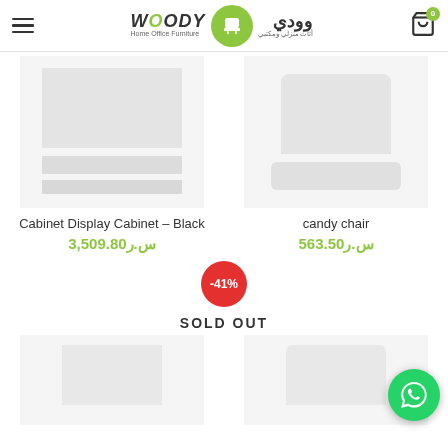[Figure (logo): Woody Home Office Furniture logo with green circle containing chair icon, English and Arabic text]
[Figure (photo): Cabinet Display Cabinet product image placeholder]
Cabinet Display Cabinet – Black
س.ر3,509.80
[Figure (photo): Candy chair product image placeholder]
candy chair
س.ر563.50
-41%
SOLD OUT
[Figure (photo): Bottom product image placeholder]
[Figure (photo): WhatsApp contact button]